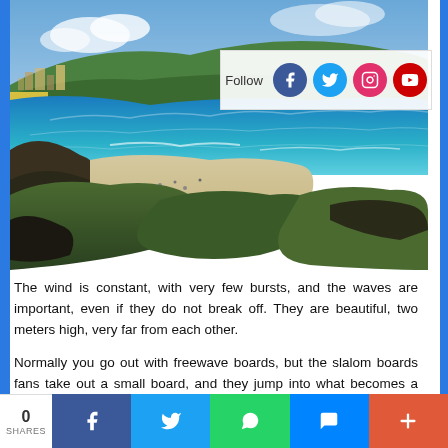[Figure (photo): Coastal beach scene with blue sea, sandy shoreline, green shrubs in foreground, town and hills in the background, taken from an elevated rocky viewpoint.]
Follow [Facebook] [Twitter] [Instagram] [YouTube]
The wind is constant, with very few bursts, and the waves are important, even if they do not break off. They are beautiful, two meters high, very far from each other.
Normally you go out with freewave boards, but the slalom boards fans take out a small board, and they jump into what becomes a motocross track.
0 SHARES [Facebook share] [Twitter share] [WhatsApp share] [Messenger share] [More]